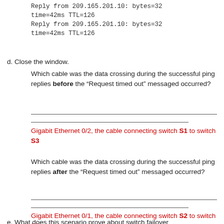Reply from 209.165.201.10: bytes=32
time=42ms TTL=126
Reply from 209.165.201.10: bytes=32
time=42ms TTL=126
d. Close the window.
Which cable was the data crossing during the successful ping replies before the “Request timed out” messaged occurred?
Gigabit Ethernet 0/2, the cable connecting switch S1 to switch S3
Which cable was the data crossing during the successful ping replies after the “Request timed out” messaged occurred?
Gigabit Ethernet 0/1, the cable connecting switch S2 to switch S3
e. What does this scenario prove about switch failover